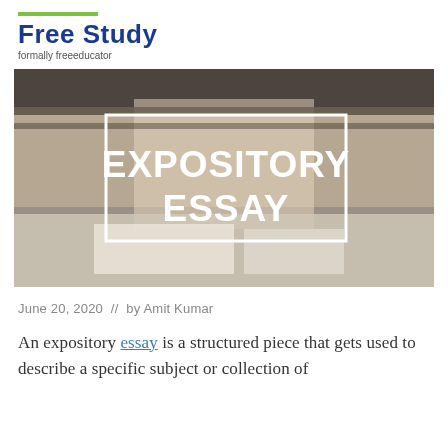Free Study — formally freeeducator
[Figure (photo): Person writing at a desk with books, overlaid with white-bordered box showing text EXPOSITORY ESSAY in bold white uppercase letters]
June 20, 2020  //  by Amit Kumar
An expository essay is a structured piece that gets used to describe a specific subject or collection of